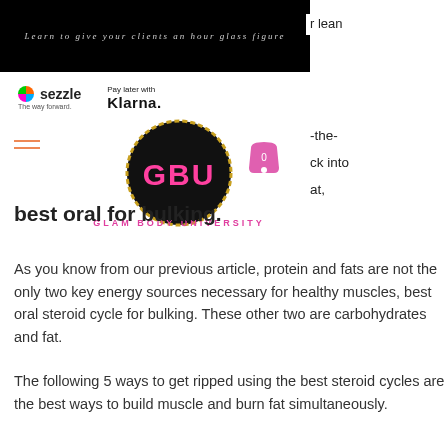Learn to give your clients an hour glass figure
[Figure (logo): Sezzle logo and Klarna Pay Later logo in payment bar]
[Figure (logo): Glam Body University circular logo with GBU text]
best oral for bulking.
As you know from our previous article, protein and fats are not the only two key energy sources necessary for healthy muscles, best oral steroid cycle for bulking. These other two are carbohydrates and fat.
The following 5 ways to get ripped using the best steroid cycles are the best ways to build muscle and burn fat simultaneously.